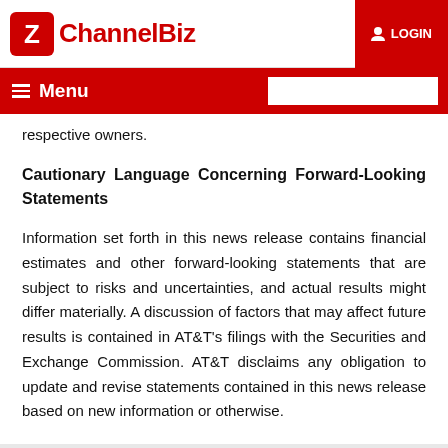ChannelBiz | LOGIN
respective owners.
Cautionary Language Concerning Forward-Looking Statements
Information set forth in this news release contains financial estimates and other forward-looking statements that are subject to risks and uncertainties, and actual results might differ materially. A discussion of factors that may affect future results is contained in AT&T's filings with the Securities and Exchange Commission. AT&T disclaims any obligation to update and revise statements contained in this news release based on new information or otherwise.